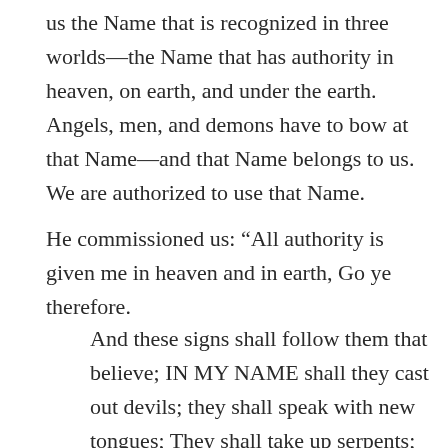us the Name that is recognized in three worlds—the Name that has authority in heaven, on earth, and under the earth. Angels, men, and demons have to bow at that Name—and that Name belongs to us. We are authorized to use that Name.
He commissioned us: “All authority is given me in heaven and in earth, Go ye therefore.
And these signs shall follow them that believe; IN MY NAME shall they cast out devils; they shall speak with new tongues; They shall take up serpents; and if they drink any deadly thing, it shall not hurt them; they shall lay hands on the